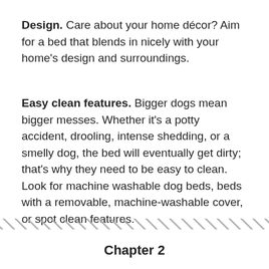Design. Care about your home décor? Aim for a bed that blends in nicely with your home's design and surroundings.
Easy clean features. Bigger dogs mean bigger messes. Whether it's a potty accident, drooling, intense shedding, or a smelly dog, the bed will eventually get dirty; that's why they need to be easy to clean. Look for machine washable dog beds, beds with a removable, machine-washable cover, or spot clean features.
[Figure (other): A diagonal hatching / striped divider line spanning the full page width]
Chapter 2